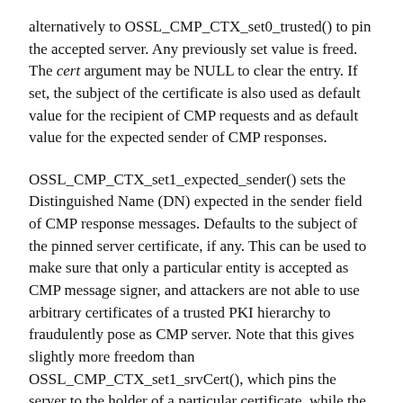alternatively to OSSL_CMP_CTX_set0_trusted() to pin the accepted server. Any previously set value is freed. The cert argument may be NULL to clear the entry. If set, the subject of the certificate is also used as default value for the recipient of CMP requests and as default value for the expected sender of CMP responses.
OSSL_CMP_CTX_set1_expected_sender() sets the Distinguished Name (DN) expected in the sender field of CMP response messages. Defaults to the subject of the pinned server certificate, if any. This can be used to make sure that only a particular entity is accepted as CMP message signer, and attackers are not able to use arbitrary certificates of a trusted PKI hierarchy to fraudulently pose as CMP server. Note that this gives slightly more freedom than OSSL_CMP_CTX_set1_srvCert(), which pins the server to the holder of a particular certificate, while the expected sender name will continue to match after updates of the